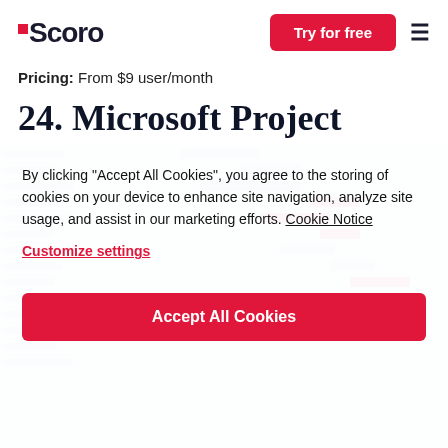Scoro | Try for free | ☰
Pricing: From $9 user/month
24. Microsoft Project
[Figure (screenshot): Screenshot of Microsoft Project Gantt chart interface, partially visible behind a cookie consent overlay]
By clicking "Accept All Cookies", you agree to the storing of cookies on your device to enhance site navigation, analyze site usage, and assist in our marketing efforts. Cookie Notice
Customize settings
Accept All Cookies